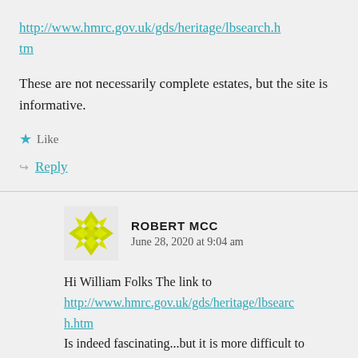http://www.hmrc.gov.uk/gds/heritage/lbsearch.htm
These are not necessarily complete estates, but the site is informative.
Like
Reply
ROBERT MCC
June 28, 2020 at 9:04 am
Hi William Folks The link to http://www.hmrc.gov.uk/gds/heritage/lbsearch.htm Is indeed fascinating...but it is more difficult to